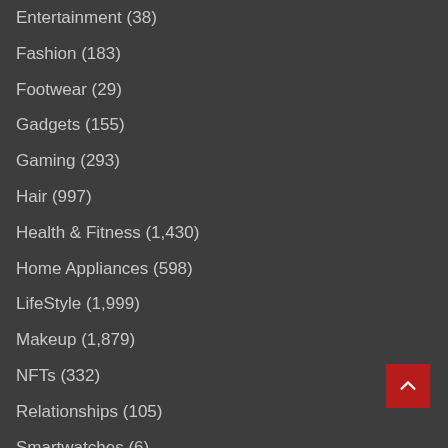Entertainment (38)
Fashion (183)
Footwear (29)
Gadgets (155)
Gaming (293)
Hair (997)
Health & Fitness (1,430)
Home Appliances (598)
LifeStyle (1,999)
Makeup (1,879)
NFTs (332)
Relationships (105)
Smartwatches (6)
Tech (1,999)
Travel (856)
Uncategorized (1)